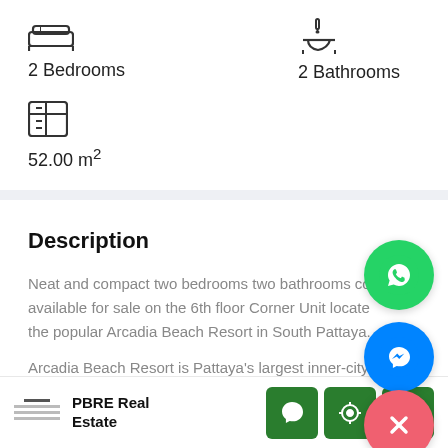2 Bedrooms
2 Bathrooms
52.00 m²
Description
Neat and compact two bedrooms two bathrooms condo available for sale on the 6th floor Corner Unit located at the popular Arcadia Beach Resort in South Pattaya.
Arcadia Beach Resort is Pattaya's largest inner-city resort, minutes away from Jomtien Beach
PBRE Real Estate